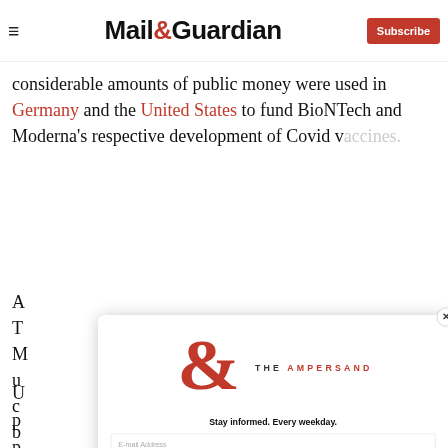Mail&Guardian — Subscribe
considerable amounts of public money were used in Germany and the United States to fund BioNTech and Moderna's respective development of Covid vaccines.
[Figure (screenshot): The Ampersand newsletter signup modal overlay with red ampersand logo, 'Stay informed. Every weekday.' tagline, email address input field, and 'Signup now' red button with close X button in top right.]